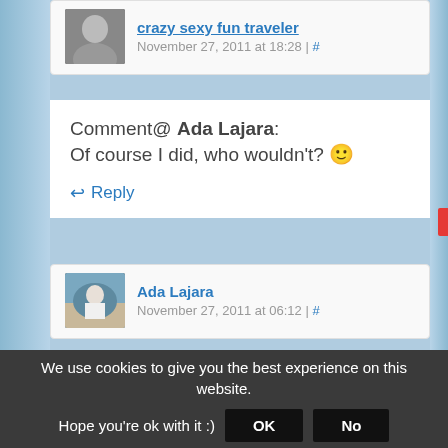crazy sexy fun traveler — November 27, 2011 at 18:28 | #
Comment@ Ada Lajara: Of course I did, who wouldn't? 🙂
↩ Reply
Ada Lajara — November 27, 2011 at 06:12 | #
I see you really enjoyed having pictures taken with some models and celebrities hihihi! Enjoy your stay here Alex! <3
We use cookies to give you the best experience on this website. Hope you're ok with it :)